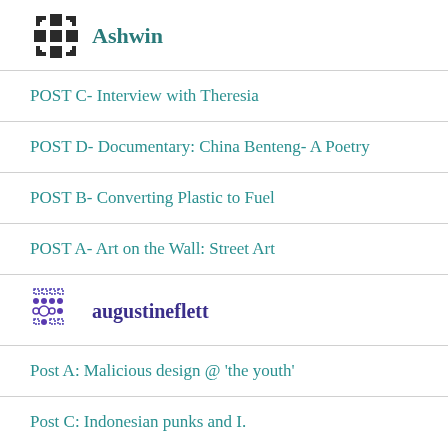Ashwin
POST C- Interview with Theresia
POST D- Documentary: China Benteng- A Poetry
POST B- Converting Plastic to Fuel
POST A- Art on the Wall: Street Art
augustineflett
Post A: Malicious design @ 'the youth'
Post C: Indonesian punks and I.
Post D: The deep depths of tobacco indoctrination within Indonesian culture